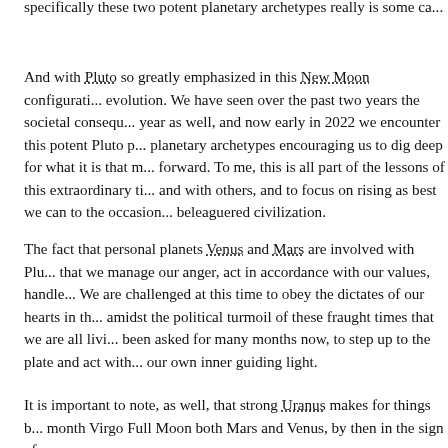specifically these two potent planetary archetypes really is some ca...
And with Pluto so greatly emphasized in this New Moon configurati... evolution. We have seen over the past two years the societal consequ... year as well, and now early in 2022 we encounter this potent Pluto p... planetary archetypes encouraging us to dig deep for what it is that m... forward. To me, this is all part of the lessons of this extraordinary ti... and with others, and to focus on rising as best we can to the occasion... beleaguered civilization.
The fact that personal planets Venus and Mars are involved with Plu... that we manage our anger, act in accordance with our values, handle... We are challenged at this time to obey the dictates of our hearts in th... amidst the political turmoil of these fraught times that we are all livi... been asked for many months now, to step up to the plate and act with... our own inner guiding light.
It is important to note, as well, that strong Uranus makes for things b... month Virgo Full Moon both Mars and Venus, by then in the sign of...